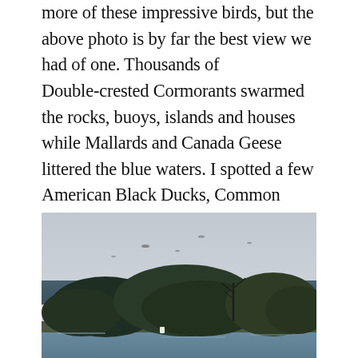more of these impressive birds, but the above photo is by far the best view we had of one. Thousands of Double-crested Cormorants swarmed the rocks, buoys, islands and houses while Mallards and Canada Geese littered the blue waters. I spotted a few American Black Ducks, Common Loons and Common Mergansers, but the best waterfowl of the day was a small group of six Red-breasted Mergansers flying past the ship.
[Figure (photo): Waterscape photograph showing a calm body of water in the foreground, dense dark treeline and island in the middle ground, distant blue forested shoreline, and an overcast pale grey sky. Small birds visible in the sky.]